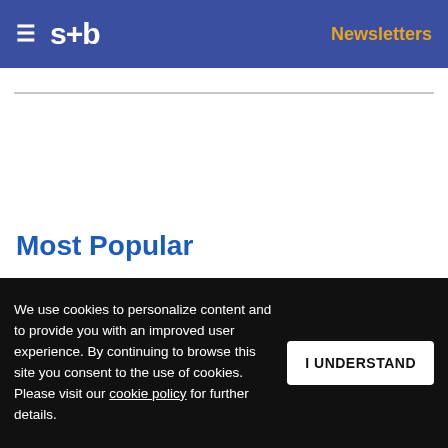s+b | Newsletters
Most Popular
1 Does your culture fit your strategy?
Get s+b's award-winning newsletter delivered to your inbox.
2 ...re, think small
We use cookies to personalize content and to provide you with an improved user experience. By continuing to browse this site you consent to the use of cookies. Please visit our cookie policy for further details.